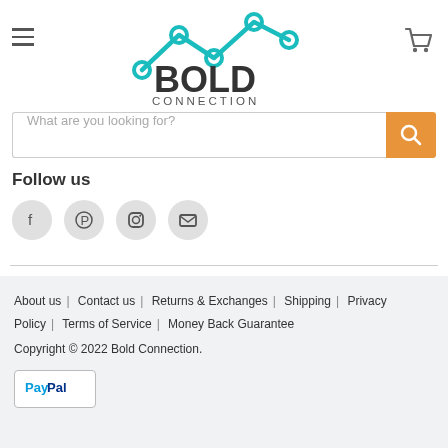[Figure (logo): Bold Connection logo with teal network/graph line icon above bold text BOLD CONNECTION]
[Figure (other): Hamburger menu icon (three horizontal lines) at top left]
[Figure (other): Shopping cart icon at top right]
What are you looking for?
Follow us
[Figure (other): Social media icons: Facebook, Pinterest, Instagram, Email]
About us | Contact us | Returns & Exchanges | Shipping | Privacy Policy | Terms of Service | Money Back Guarantee
Copyright © 2022 Bold Connection.
PayPal